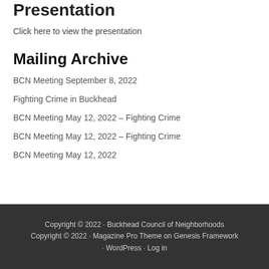Presentation
Click here to view the presentation
Mailing Archive
BCN Meeting September 8, 2022
Fighting Crime in Buckhead
BCN Meeting May 12, 2022 – Fighting Crime
BCN Meeting May 12, 2022 – Fighting Crime
BCN Meeting May 12, 2022
Copyright © 2022 · Buckhead Council of Neighborhoods Copyright © 2022 · Magazine Pro Theme on Genesis Framework · WordPress · Log in